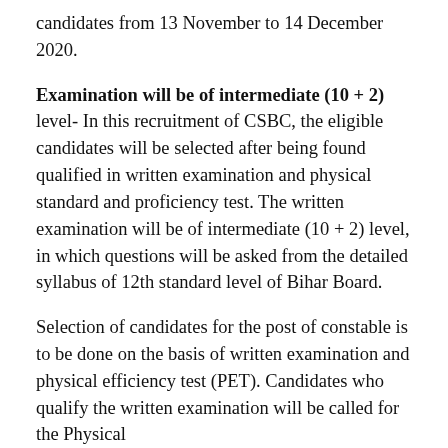candidates from 13 November to 14 December 2020.
Examination will be of intermediate (10 + 2) level- In this recruitment of CSBC, the eligible candidates will be selected after being found qualified in written examination and physical standard and proficiency test. The written examination will be of intermediate (10 + 2) level, in which questions will be asked from the detailed syllabus of 12th standard level of Bihar Board.
Selection of candidates for the post of constable is to be done on the basis of written examination and physical efficiency test (PET). Candidates who qualify the written examination will be called for the Physical...